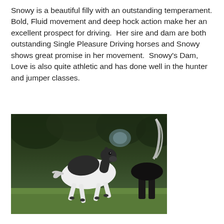Snowy is a beautiful filly with an outstanding temperament. Bold, Fluid movement and deep hock action make her an excellent prospect for driving.  Her sire and dam are both outstanding Single Pleasure Driving horses and Snowy shows great promise in her movement.  Snowy's Dam, Love is also quite athletic and has done well in the hunter and jumper classes.
[Figure (photo): A small black and white foal running on green grass, with another horse partially visible on the right side. Trees are blurred in the background.]